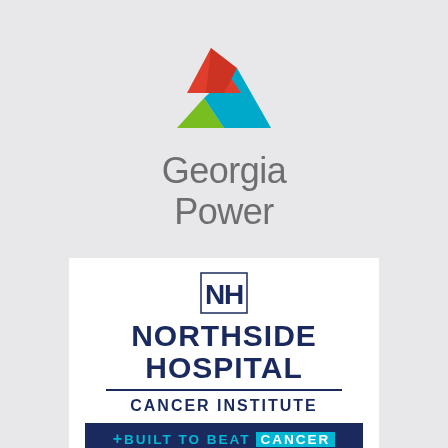[Figure (logo): Georgia Power logo: triangular mountain graphic composed of red, cyan/blue, and green triangular shapes, with 'Georgia Power' text in grey below]
[Figure (logo): Northside Hospital Cancer Institute logo on white background with navy blue NH monogram, NORTHSIDE HOSPITAL in large bold navy text, horizontal divider, CANCER INSTITUTE below, and '+BUILT TO BEAT CANCER' tagline bar at bottom in cyan and navy]